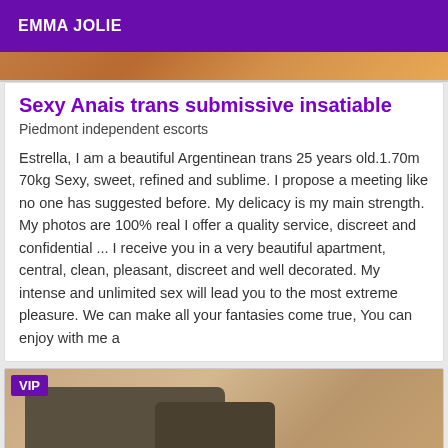EMMA JOLIE
[Figure (photo): Top portion of a photo, warm brownish-orange tones, partially cropped]
Sexy Anais trans submissive insatiable
Piedmont independent escorts
Estrella, I am a beautiful Argentinean trans 25 years old.1.70m 70kg Sexy, sweet, refined and sublime. I propose a meeting like no one has suggested before. My delicacy is my main strength. My photos are 100% real I offer a quality service, discreet and confidential ... I receive you in a very beautiful apartment, central, clean, pleasant, discreet and well decorated. My intense and unlimited sex will lead you to the most extreme pleasure. We can make all your fantasies come true, You can enjoy with me a
[Figure (photo): Bottom photo showing dark leather sofa/couch with VIP badge overlay, beige/tan background]